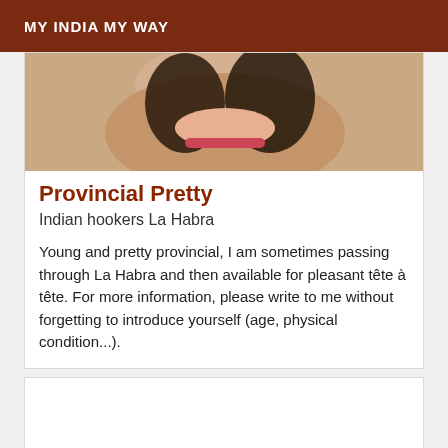MY INDIA MY WAY
[Figure (photo): Close-up photo of a person with dark hair accessories]
Provincial Pretty
Indian hookers La Habra
Young and pretty provincial, I am sometimes passing through La Habra and then available for pleasant tête à tête. For more information, please write to me without forgetting to introduce yourself (age, physical condition...).